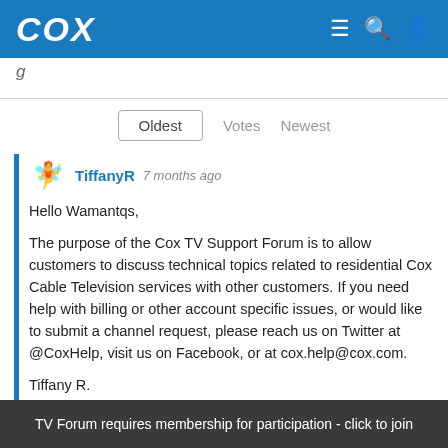COX
g
Oldest   Votes   Newest
TiffanyR   7 months ago
Hello Wamantqs,

The purpose of the Cox TV Support Forum is to allow customers to discuss technical topics related to residential Cox Cable Television services with other customers. If you need help with billing or other account specific issues, or would like to submit a channel request, please reach us on Twitter at @CoxHelp, visit us on Facebook, or at cox.help@cox.com.

Tiffany R.
Cox Support Forum Moderator
TV Forum requires membership for participation - click to join